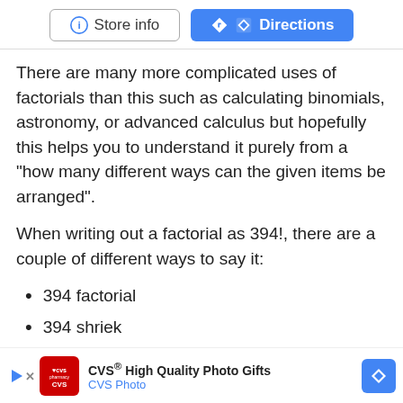[Figure (screenshot): Two buttons: 'Store info' (outlined, with info icon) and 'Directions' (blue filled, with directions icon)]
There are many more complicated uses of factorials than this such as calculating binomials, astronomy, or advanced calculus but hopefully this helps you to understand it purely from a "how many different ways can the given items be arranged".
When writing out a factorial as 394!, there are a couple of different ways to say it:
394 factorial
394 shriek
394 bang
[Figure (screenshot): CVS pharmacy advertisement banner: 'CVS® High Quality Photo Gifts - CVS Photo' with CVS logo and directions icon]